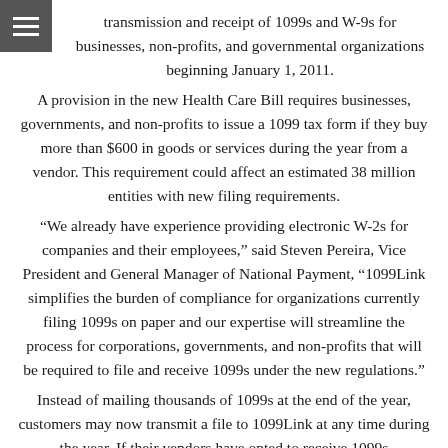transmission and receipt of 1099s and W-9s for businesses, non-profits, and governmental organizations beginning January 1, 2011.
A provision in the new Health Care Bill requires businesses, governments, and non-profits to issue a 1099 tax form if they buy more than $600 in goods or services during the year from a vendor. This requirement could affect an estimated 38 million entities with new filing requirements.
“We already have experience providing electronic W-2s for companies and their employees,” said Steven Pereira, Vice President and General Manager of National Payment, “1099Link simplifies the burden of compliance for organizations currently filing 1099s on paper and our expertise will streamline the process for corporations, governments, and non-profits that will be required to file and receive 1099s under the new regulations.”
Instead of mailing thousands of 1099s at the end of the year, customers may now transmit a file to 1099Link at any time during the year. If their vendors have opted to receive 1099s electronically through 1099Link, the tax forms are presented electronically, and are stored for future access. Otherwise they will be printed and mailed automatically. It’s expected that most recipients of 1099 forms will choose electronic receipt to streamline reconciliation and storage.
“By linking the supply and receiving side of the entire form…